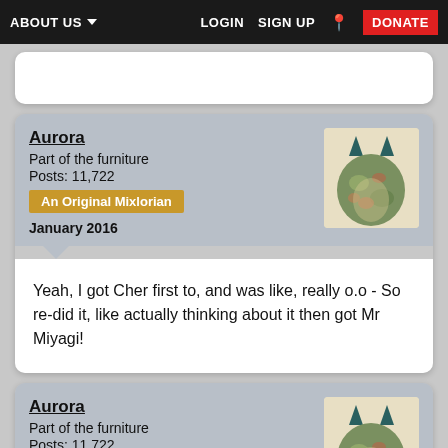ABOUT US  LOGIN  SIGN UP  DONATE
Aurora
Part of the furniture
Posts: 11,722
An Original Mixlorian
January 2016
Yeah, I got Cher first to, and was like, really o.o - So re-did it, like actually thinking about it then got Mr Miyagi!
Aurora
Part of the furniture
Posts: 11,722
An Original Mixlorian
January 2016